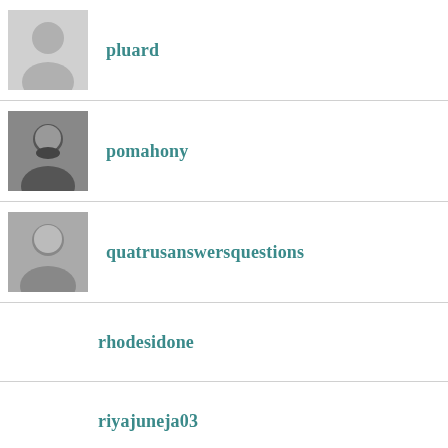pluard
pomahony
quatrusanswersquestions
rhodesidone
riyajuneja03
rsampath2021
sententiaeantiquae